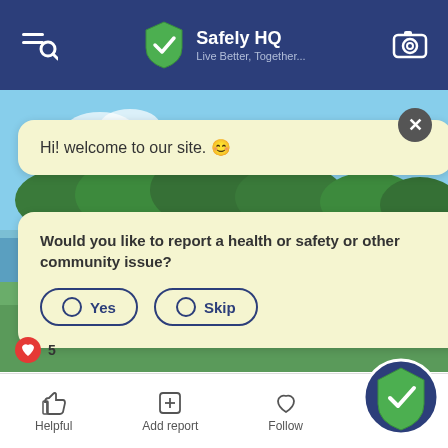[Figure (screenshot): Mobile app top header bar with Safely HQ branding, shield logo, search/menu icon on left, camera icon on right]
Safely HQ
Live Better, Together...
[Figure (photo): Outdoor landscape photo showing a lakeside park with trees, green grass, and a clear blue sky]
Hi! welcome to our site. 😊
Would you like to report a health or safety or other community issue?
Yes
Skip
Helpful
Add report
Follow
Home
Search
Add report